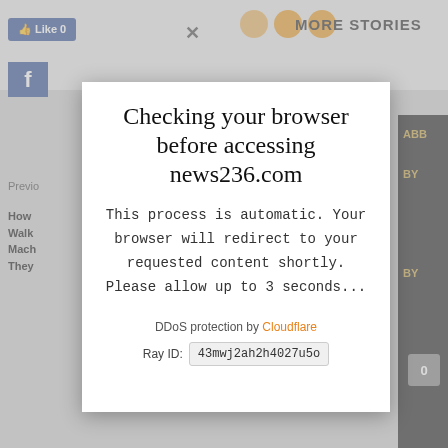[Figure (screenshot): Browser-like background UI with Facebook Like button, X close button, colored circles, MORE STORIES text, Facebook icon, sidebar navigation text, dark right panel, and comment bubble]
Checking your browser before accessing news236.com
This process is automatic. Your browser will redirect to your requested content shortly. Please allow up to 3 seconds...
DDoS protection by Cloudflare
Ray ID: 43mwj2ah2h4027u5o